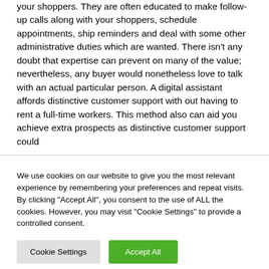your shoppers. They are often educated to make follow-up calls along with your shoppers, schedule appointments, ship reminders and deal with some other administrative duties which are wanted. There isn't any doubt that expertise can prevent on many of the value; nevertheless, any buyer would nonetheless love to talk with an actual particular person. A digital assistant affords distinctive customer support with out having to rent a full-time workers. This method also can aid you achieve extra prospects as distinctive customer support could
We use cookies on our website to give you the most relevant experience by remembering your preferences and repeat visits. By clicking "Accept All", you consent to the use of ALL the cookies. However, you may visit "Cookie Settings" to provide a controlled consent.